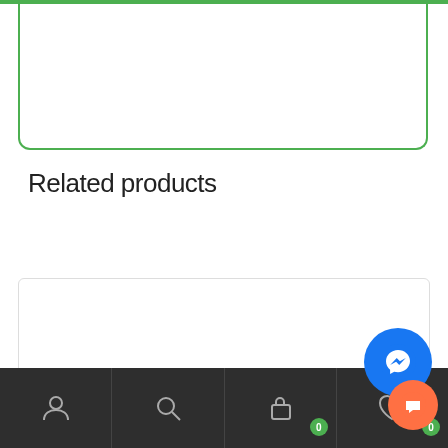[Figure (other): Green-bordered rounded box at top of page, partially visible]
Related products
[Figure (photo): Product card showing SOGA 12pcs Artificial Silk Flower Fake Rose Bouquet Table Decor Dark Pink with an image of pink roses on a stem, X12 quantity badge, and a red circular price badge showing $389]
Navigation bar with user, search, cart (0), wishlist (0) icons; Messenger and chat floating buttons